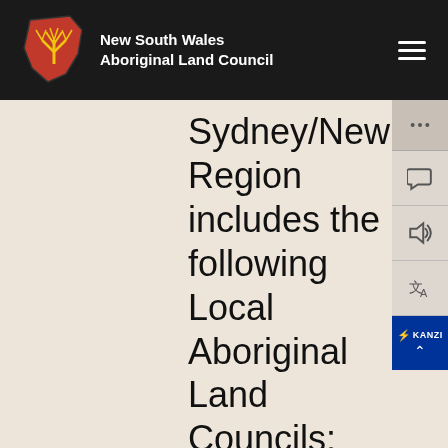New South Wales Aboriginal Land Council
Sydney/Newcastle Region includes the following Local Aboriginal Land Councils: Awabakal, Bahtabah, Biraban, Darkinjung, Deerubbin, Gandangara, La Perouse, Metropolitan, Mindaribba, Tharawal, Worimi